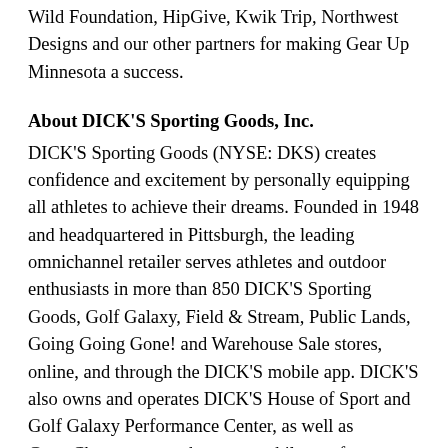Wild Foundation, HipGive, Kwik Trip, Northwest Designs and our other partners for making Gear Up Minnesota a success.
About DICK'S Sporting Goods, Inc.
DICK'S Sporting Goods (NYSE: DKS) creates confidence and excitement by personally equipping all athletes to achieve their dreams. Founded in 1948 and headquartered in Pittsburgh, the leading omnichannel retailer serves athletes and outdoor enthusiasts in more than 850 DICK'S Sporting Goods, Golf Galaxy, Field & Stream, Public Lands, Going Going Gone! and Warehouse Sale stores, online, and through the DICK'S mobile app. DICK'S also owns and operates DICK'S House of Sport and Golf Galaxy Performance Center, as well as GameChanger, a youth sports mobile app for scheduling, communications, live scorekeeping and video streaming.
Driven by its belief that sports make people better, DICK'S has been a longtime champion for youth sports and, together with its Foundation, has donated millions of dollars